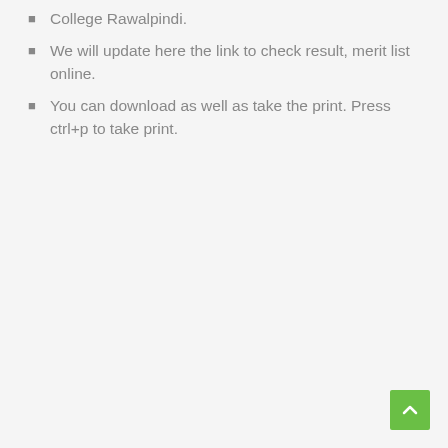College Rawalpindi.
We will update here the link to check result, merit list online.
You can download as well as take the print. Press ctrl+p to take print.